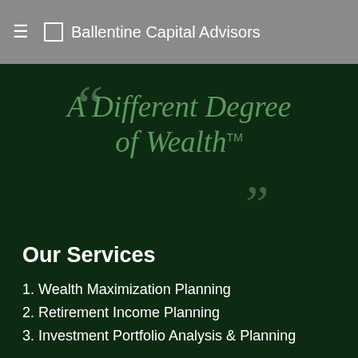Ballentine Capital Advisors
“A Different Degree of Wealth™
Our Services
1. Wealth Maximization Planning
2. Retirement Income Planning
3. Investment Portfolio Analysis & Planning
4. Tax Planning Strategies